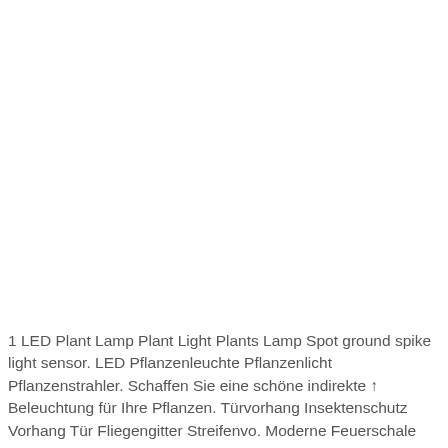1 LED Plant Lamp Plant Light Plants Lamp Spot ground spike light sensor. LED Pflanzenleuchte Pflanzenlicht Pflanzenstrahler. Schaffen Sie eine schöne indirekte ↑ Beleuchtung für Ihre Pflanzen. Türvorhang Insektenschutz Vorhang Tür Fliegengitter Streifenvo. Moderne Feuerschale